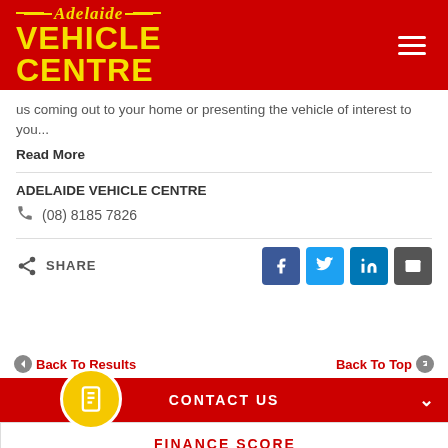[Figure (logo): Adelaide Vehicle Centre logo — yellow italic text 'Adelaide' with decorative lines above yellow bold 'VEHICLE CENTRE' on red background, with hamburger menu icon top right]
us coming out to your home or presenting the vehicle of interest to you...
Read More
ADELAIDE VEHICLE CENTRE
(08) 8185 7826
SHARE
Back To Results
Back To Top
CONTACT US
FINANCE SCORE